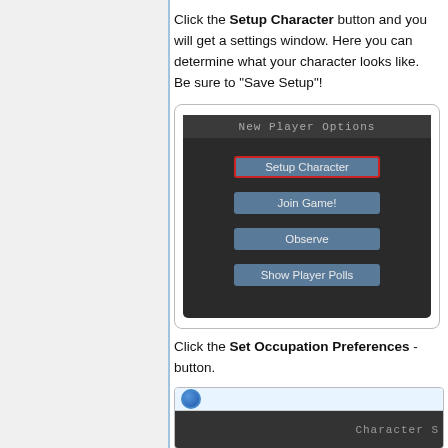Click the Setup Character button and you will get a settings window. Here you can determine what your character looks like. Be sure to "Save Setup"!
[Figure (screenshot): Game UI screenshot showing 'New Player Options' panel with buttons: Setup Character (highlighted with red border), Join Game!, Observe, Show Player Polls]
Click the Set Occupation Preferences - button.
[Figure (screenshot): Partial screenshot showing the top of a 'Character Setup' window with globe icon]